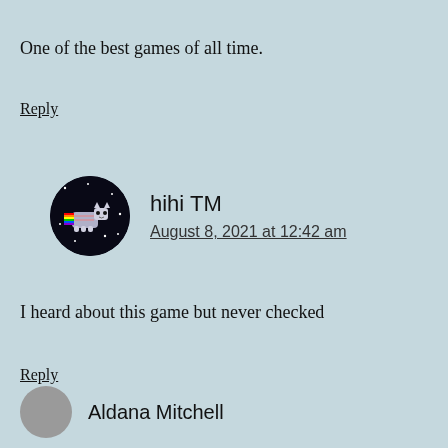One of the best games of all time.
Reply
hihi TM
August 8, 2021 at 12:42 am
I heard about this game but never checked
Reply
Aldana Mitchell